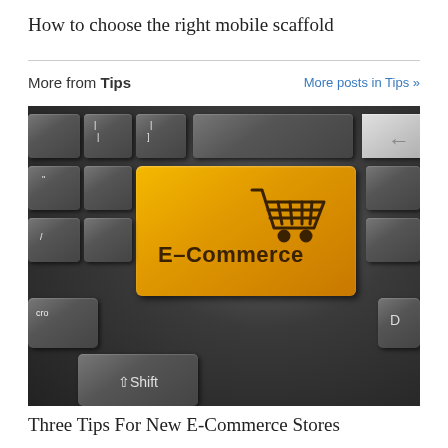How to choose the right mobile scaffold
More from Tips   More posts in Tips »
[Figure (photo): Close-up photo of a computer keyboard with a large orange E-Commerce key featuring a shopping cart icon, surrounded by dark gray keyboard keys. A Shift key is visible at the bottom.]
Three Tips For New E-Commerce Stores